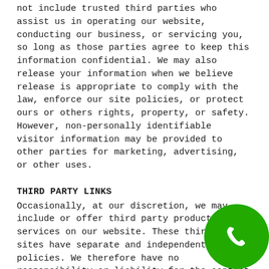not include trusted third parties who assist us in operating our website, conducting our business, or servicing you, so long as those parties agree to keep this information confidential. We may also release your information when we believe release is appropriate to comply with the law, enforce our site policies, or protect ours or others rights, property, or safety. However, non-personally identifiable visitor information may be provided to other parties for marketing, advertising, or other uses.
THIRD PARTY LINKS
Occasionally, at our discretion, we may include or offer third party products or services on our website. These third party sites have separate and independent privacy policies. We therefore have no responsibility or liability for the content and activities of these linked sites. Nonetheless, we seek to protect the integrity of our site and welcome any feedback about these sites.
CALIFORNIA ONLINE PRIVACY PROTECTION ACT CO
Because we value your privacy we have taken th